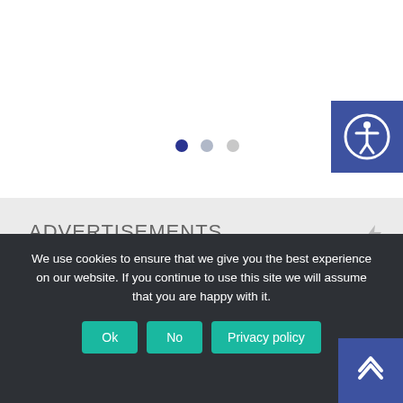[Figure (other): Carousel slide indicator dots: one active dark blue dot and two inactive gray dots]
[Figure (other): Accessibility icon button (blue square with person-in-circle icon) in top-right corner]
ADVERTISEMENTS
[Figure (other): Advertisement card with green-toned background image placeholder]
We use cookies to ensure that we give you the best experience on our website. If you continue to use this site we will assume that you are happy with it.
[Figure (other): Cookie consent buttons: Ok, No, Privacy policy]